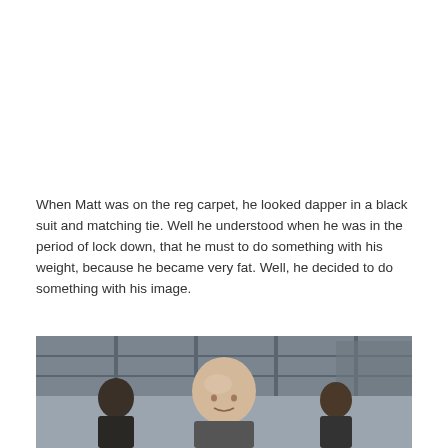When Matt was on the reg carpet, he looked dapper in a black suit and matching tie. Well he understood when he was in the period of lock down, that he must to do something with his weight, because he became very fat. Well, he decided to do something with his image.
Matt is best known for his work with David Williams in comedy series Rock Profile, Little Britain and Come Fly With Me. Having been one of the presenters of Bake off, he is going to take part in the Stand Up To Cancer. 20 different celebrities will be in this show.
[Figure (photo): Photo of people at an event, showing a bald man in the center foreground with other people visible behind him, indoor/outdoor setting with windows or railings in the background.]